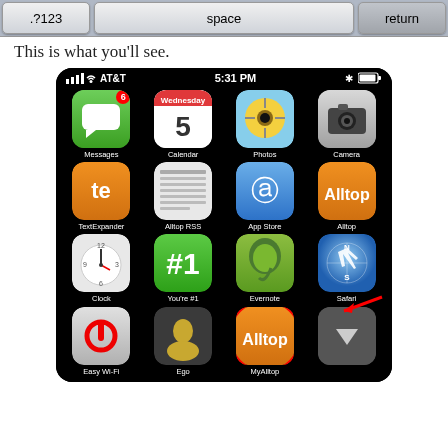[Figure (screenshot): iPhone keyboard bar showing .?123, space, and return keys]
This is what you’ll see.
[Figure (screenshot): iPhone home screen showing AT&T carrier, 5:31 PM, with apps: Messages (6 badge), Calendar, Photos, Camera, TextExpander, Alltop RSS, App Store, Alltop, Clock, You're #1, Evernote, Safari, Easy Wi-Fi, Ego, MyAlltop (circled in red with red arrow), and a folder arrow icon]